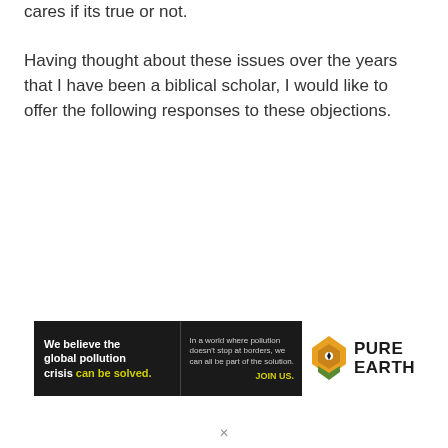cares if its true or not. Having thought about these issues over the years that I have been a biblical scholar, I would like to offer the following responses to these objections.
[Figure (other): Pure Earth advertisement banner. Black background with bold white text reading 'We believe the global pollution crisis can be solved.' with 'can be solved.' in yellow/green. Right side has smaller white text 'In a world where pollution doesn't stop at borders, we can all be part of the solution.' followed by 'JOIN US.' in yellow. Next to the black box is the Pure Earth logo (a diamond/chevron shape in orange/yellow) and the words 'PURE EARTH' in bold black.]